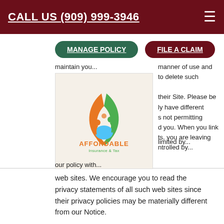CALL US (909) 999-3946
MANAGE POLICY
FILE A CLAIM
[Figure (logo): Affordable Insurance & Tax logo: orange and green flame/droplet shape with stylized human figures, text 'AFFORDABLE Insurance & Tax' in orange and green]
web sites. We encourage you to read the privacy statements of all such web sites since their privacy policies may be materially different from our Notice.
Section 5.01 -- Agreement and Modification: By using and accessing the Web Site you indicate